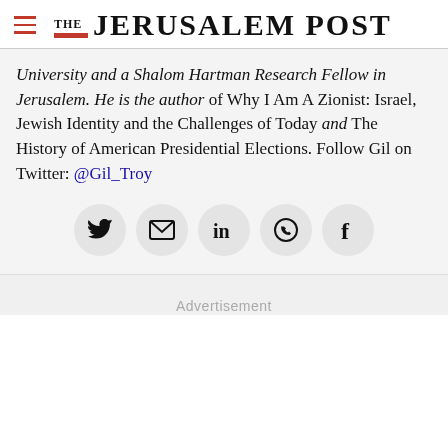THE JERUSALEM POST
University and a Shalom Hartman Research Fellow in Jerusalem. He is the author of Why I Am A Zionist: Israel, Jewish Identity and the Challenges of Today and The History of American Presidential Elections. Follow Gil on Twitter: @Gil_Troy
[Figure (other): Social media share buttons: Twitter, Email, LinkedIn, WhatsApp, Facebook]
Advertisement